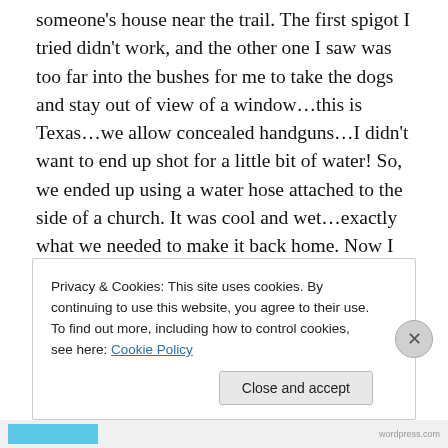someone's house near the trail. The first spigot I tried didn't work, and the other one I saw was too far into the bushes for me to take the dogs and stay out of view of a window…this is Texas…we allow concealed handguns…I didn't want to end up shot for a little bit of water! So, we ended up using a water hose attached to the side of a church. It was cool and wet…exactly what we needed to make it back home. Now I have a new shopping item…a doggie backpack so they can carry their own water!

I say we were out under two hours tonight…I don't know
Privacy & Cookies: This site uses cookies. By continuing to use this website, you agree to their use.
To find out more, including how to control cookies, see here: Cookie Policy
Close and accept